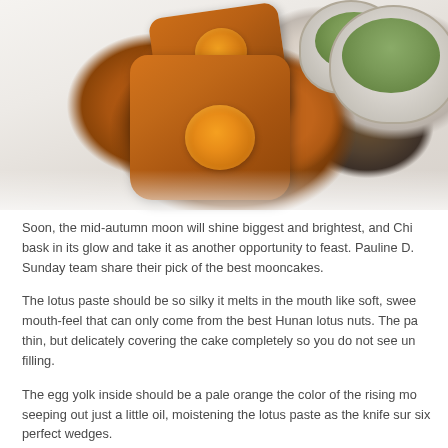[Figure (photo): Photo of mooncakes cut open showing orange egg yolk centers, with white ceramic tea cups containing green tea in the background, on a white surface.]
Soon, the mid-autumn moon will shine biggest and brightest, and Chi bask in its glow and take it as another opportunity to feast. Pauline D. Sunday team share their pick of the best mooncakes.
The lotus paste should be so silky it melts in the mouth like soft, swe mouth-feel that can only come from the best Hunan lotus nuts. The pa thin, but delicately covering the cake completely so you do not see un filling.
The egg yolk inside should be a pale orange the color of the rising mo seeping out just a little oil, moistening the lotus paste as the knife sur six perfect wedges.